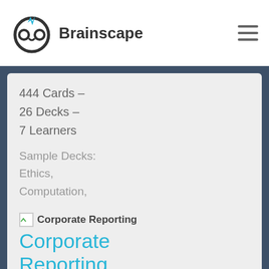[Figure (logo): Brainscape logo: owl face icon with lightning bolt on top, next to the text 'Brainscape' in bold dark gray]
444 Cards –
26 Decks –
7 Learners
Sample Decks: Ethics, Computation, Property Income
[Figure (illustration): Broken image icon followed by the text 'Corporate Reporting']
Corporate Reporting
FLASHCARD MAKER: